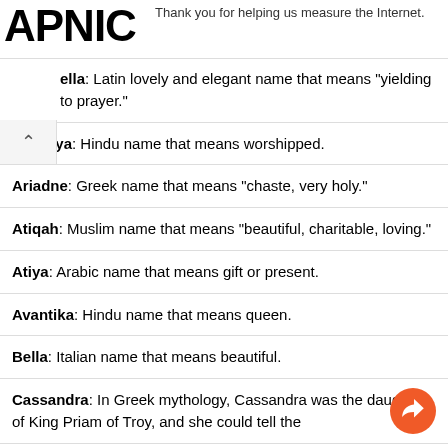APNIC — Thank you for helping us measure the Internet.
ella: Latin lovely and elegant name that means "yielding to prayer."
Aradhya: Hindu name that means worshipped.
Ariadne: Greek name that means "chaste, very holy."
Atiqah: Muslim name that means "beautiful, charitable, loving."
Atiya: Arabic name that means gift or present.
Avantika: Hindu name that means queen.
Bella: Italian name that means beautiful.
Cassandra: In Greek mythology, Cassandra was the daughter of King Priam of Troy, and she could tell the